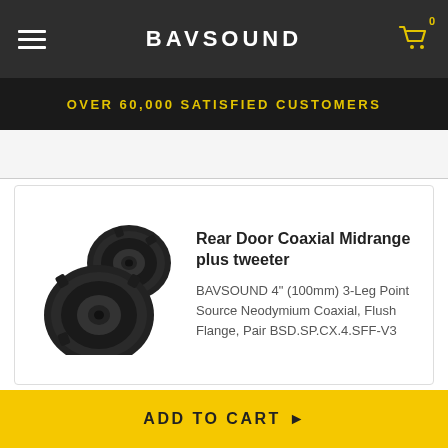BAVSOUND
OVER 60,000 SATISFIED CUSTOMERS
Rear Door Coaxial Midrange plus tweeter
BAVSOUND 4" (100mm) 3-Leg Point Source Neodymium Coaxial, Flush Flange, Pair BSD.SP.CX.4.SFF-V3
[Figure (photo): Photo of two black circular coaxial car speakers viewed from above]
Underseat Subwoofers
[Figure (illustration): Dark circular icon with a checkmark/chevron symbol inside]
ADD TO CART ▶